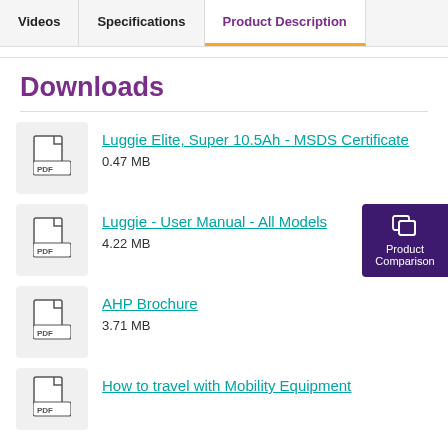Videos | Specifications | Product Description
Downloads
Luggie Elite, Super 10.5Ah - MSDS Certificate
0.47 MB
Luggie - User Manual - All Models
4.22 MB
AHP Brochure
3.71 MB
How to travel with Mobility Equipment